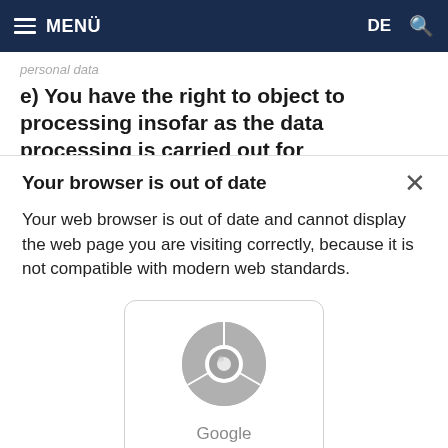MENÜ | DE 🔍
personal data
e) You have the right to object to processing insofar as the data processing is carried out for the purpose of direct marketing or profiling. If
Your browser is out of date
Your web browser is out of date and cannot display the web page you are visiting correctly, because it is not compatible with modern web standards.
[Figure (logo): Google Chrome browser logo — a circular icon with concentric rings in grey tones — with label 'Google Chrome' below it, inside a rounded rectangle card]